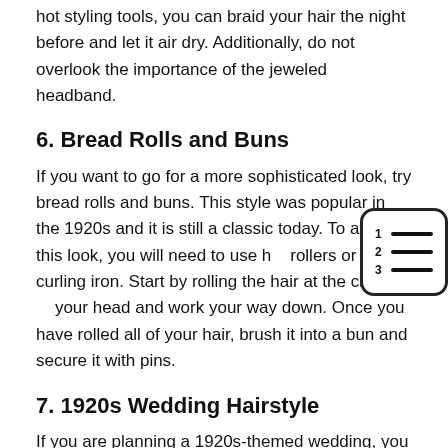hot styling tools, you can braid your hair the night before and let it air dry. Additionally, do not overlook the importance of the jeweled headband.
6. Bread Rolls and Buns
If you want to go for a more sophisticated look, try bread rolls and buns. This style was popular in the 1920s and it is still a classic today. To achieve this look, you will need to use hot rollers or a curling iron. Start by rolling the hair at the crown of your head and work your way down. Once you have rolled all of your hair, brush it into a bun and secure it with pins.
[Figure (illustration): A numbered list icon with lines, rendered as a UI widget with a rounded rectangle border showing numbers 1, 2, 3 each next to horizontal lines.]
7. 1920s Wedding Hairstyle
If you are planning a 1920s-themed wedding, you will need to find the perfect hairstyle to match. One option is the classic finger wave. This look is both elegant and timeless. Another